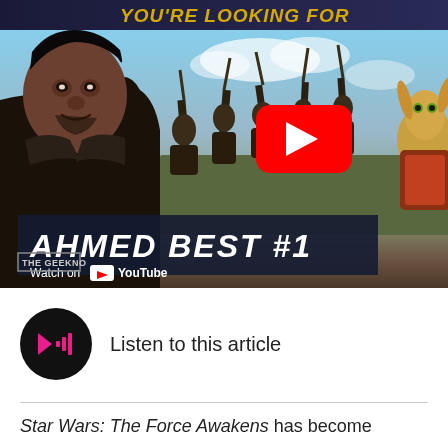[Figure (screenshot): YouTube video thumbnail showing Ahmed Best interview, with battle scene background from Star Wars featuring Jar Jar Binks characters on horseback, red YouTube play button in center, caption bar reading 'AHMED BEST #1', and 'Watch on YouTube' branding. The text 'YOU'RE LOOKING FOR' appears at top.]
Listen to this article
Star Wars: The Force Awakens has become